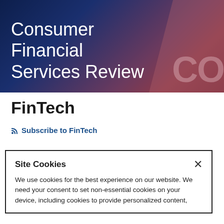[Figure (illustration): Consumer Financial Services Review banner with dark navy to burgundy gradient background and large faded 'CO' text watermark on the right side]
Consumer Financial Services Review
FinTech
Subscribe to FinTech
Site Cookies
We use cookies for the best experience on our website. We need your consent to set non-essential cookies on your device, including cookies to provide personalized content,